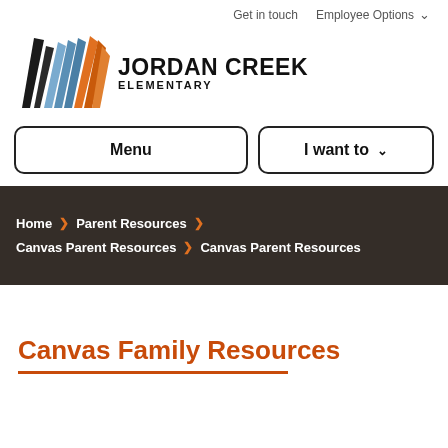Get in touch   Employee Options
[Figure (logo): Jordan Creek Elementary school logo with diagonal stripe design in black, blue, and orange, with bold text JORDAN CREEK ELEMENTARY]
Menu
I want to
Home > Parent Resources > Canvas Parent Resources > Canvas Parent Resources
Canvas Family Resources